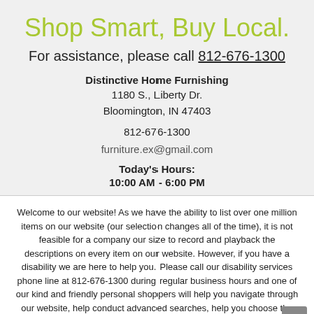Shop Smart, Buy Local.
For assistance, please call 812-676-1300
Distinctive Home Furnishing
1180 S., Liberty Dr.
Bloomington, IN 47403
812-676-1300
furniture.ex@gmail.com
Today's Hours:
10:00 AM - 6:00 PM
Welcome to our website! As we have the ability to list over one million items on our website (our selection changes all of the time), it is not feasible for a company our size to record and playback the descriptions on every item on our website. However, if you have a disability we are here to help you. Please call our disability services phone line at 812-676-1300 during regular business hours and one of our kind and friendly personal shoppers will help you navigate through our website, help conduct advanced searches, help you choose the item you are looking for with the specifications you are